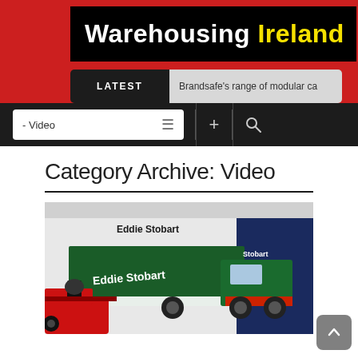Warehousing Ireland
LATEST  Brandsafe's range of modular ca
- Video
Category Archive: Video
[Figure (photo): Eddie Stobart branded green and white truck parked next to a red racing car in front of a warehouse building]